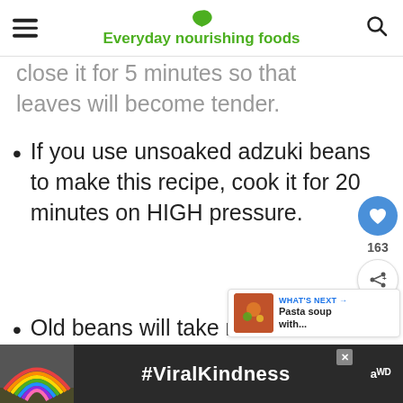Everyday nourishing foods
close it for 5 minutes so that leaves will become tender.
If you use unsoaked adzuki beans to make this recipe, cook it for 20 minutes on HIGH pressure.
Old beans will take more to cook. If the beans seemed to